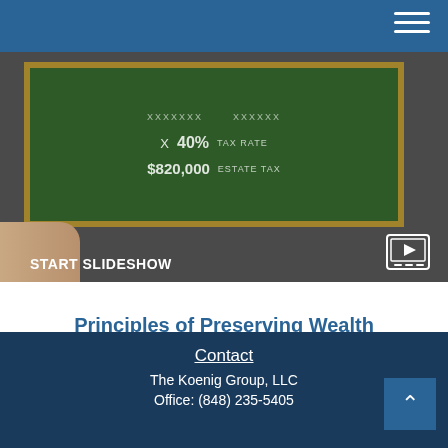[Figure (screenshot): A tablet showing a chalkboard with estate tax calculations: X, 40% TAX RATE, $820,000 ESTATE TAX. The banner reads START SLIDESHOW with a slideshow icon.]
Principles of Preserving Wealth
How federal estate taxes work, plus estate management documents and tactics.
Contact
The Koenig Group, LLC
Office: (848) 235-5405